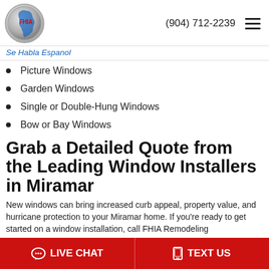[Figure (logo): FHIA circular logo with Florida state outline]
(904) 712-2239
Se Habla Espanol
Picture Windows
Garden Windows
Single or Double-Hung Windows
Bow or Bay Windows
Grab a Detailed Quote from the Leading Window Installers in Miramar
New windows can bring increased curb appeal, property value, and hurricane protection to your Miramar home. If you're ready to get started on a window installation, call FHIA Remodeling
LIVE CHAT   TEXT US